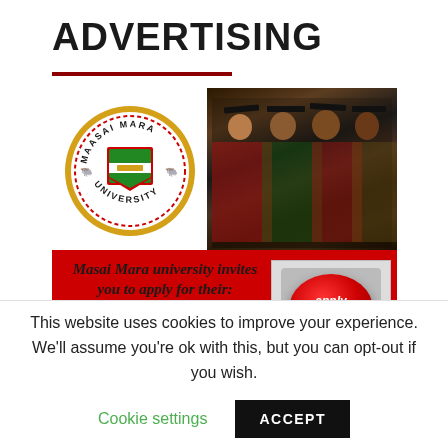ADVERTISING
[Figure (infographic): Maasai Mara University advertisement showing the university logo (circular gold and red crest with text MAASAI MARA UNIVERSITY) on a red background, a photo of graduating students in black gowns and mortarboards, text 'Masai Mara university invites you to apply for their:', intake text 'JANUARY*MAY* SEPTEMBER INTAKES', and a red 'apply now!' button graphic.]
This website uses cookies to improve your experience. We'll assume you're ok with this, but you can opt-out if you wish.
Cookie settings
ACCEPT